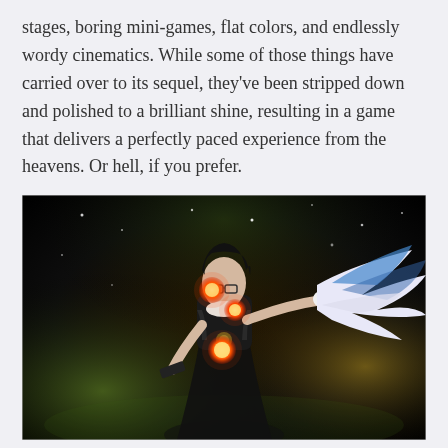stages, boring mini-games, flat colors, and endlessly wordy cinematics. While some of those things have carried over to its sequel, they've been stripped down and polished to a brilliant shine, resulting in a game that delivers a perfectly paced experience from the heavens. Or hell, if you prefer.
[Figure (photo): Screenshot from Bayonetta 2 showing the main character Bayonetta in a dark, glowing environment. She wears black clothing and glasses, with glowing orange/red orbs around her. She holds a large white and blue feathered object in her right hand. The background has a dark, atmospheric lighting with golden/green hues.]
The fact that we even have Bayonetta 2 in our hands is a bit of a small miracle. With Sega not able to take care of publishing duties this time